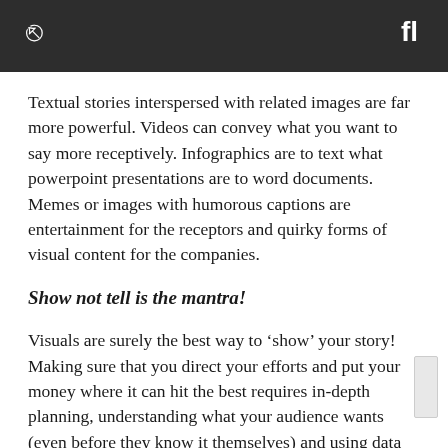Textual stories interspersed with related images are far more powerful. Videos can convey what you want to say more receptively. Infographics are to text what powerpoint presentations are to word documents. Memes or images with humorous captions are entertainment for the receptors and quirky forms of visual content for the companies.
Show not tell is the mantra!
Visuals are surely the best way to ‘show’ your story! Making sure that you direct your efforts and put your money where it can hit the best requires in-depth planning, understanding what your audience wants (even before they know it themselves) and using data analytics to support your chosen strategy.